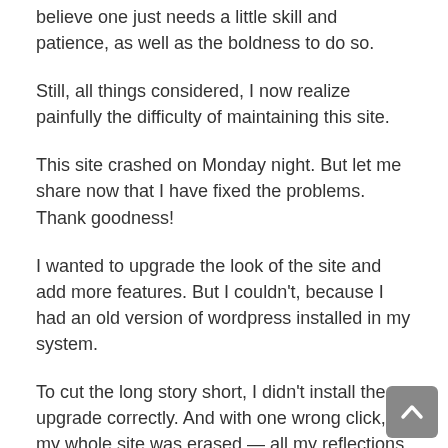believe one just needs a little skill and patience, as well as the boldness to do so.
Still, all things considered, I now realize painfully the difficulty of maintaining this site.
This site crashed on Monday night. But let me share now that I have fixed the problems. Thank goodness!
I wanted to upgrade the look of the site and add more features. But I couldn't, because I had an old version of wordpress installed in my system.
To cut the long story short, I didn't install the upgrade correctly. And with one wrong click, my whole site was erased — all my reflections, pictures, etc. Good thing I had a backup. And after some hits and misses, and two nights of sleeping at 3 a.m. to fix the site, I now have an upgraded portal for all of you.